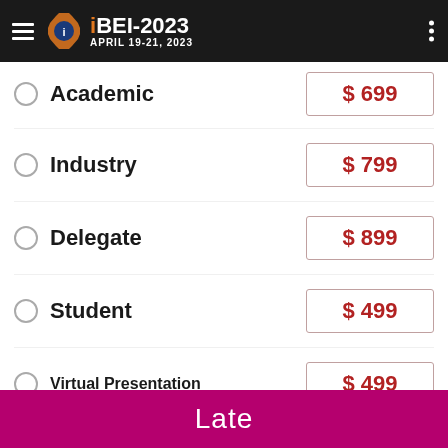BEI-2023 APRIL 19-21, 2023
Academic $699
Industry $799
Delegate $899
Student $499
Virtual Presentation $499
Late